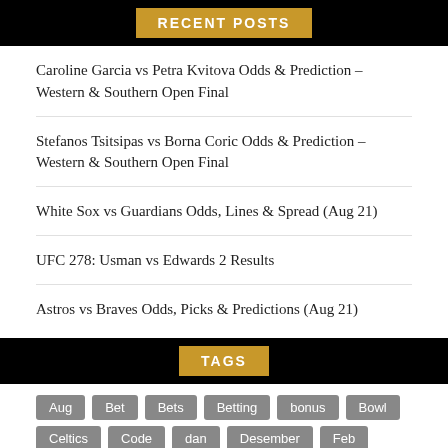RECENT POSTS
Caroline Garcia vs Petra Kvitova Odds & Prediction – Western & Southern Open Final
Stefanos Tsitsipas vs Borna Coric Odds & Prediction – Western & Southern Open Final
White Sox vs Guardians Odds, Lines & Spread (Aug 21)
UFC 278: Usman vs Edwards 2 Results
Astros vs Braves Odds, Picks & Predictions (Aug 21)
TAGS
Aug Bet Bets Betting bonus Bowl Celtics Code dan Desember Feb Final Game Januari July June League Lines McGregor NBA NFL Odds Open Peluang Picks Pilihan Player Podcast Prediction Predictions Prodiksi Preview promo